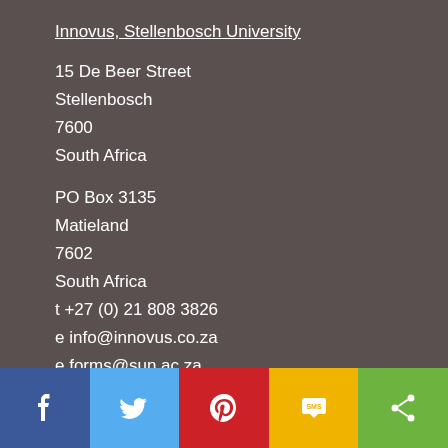Innovus, Stellenbosch University
15 De Beer Street
Stellenbosch
7600
South Africa
PO Box 3135
Matieland
7602
South Africa
t +27 (0) 21 808 3826
e info@innovus.co.za
e forms@sun.ac.za
[Figure (infographic): Social sharing bar with five buttons: Facebook (blue), Twitter (light blue), Pinterest (red), SMS (yellow/gold), Share (green). Each shows a white icon on a colored background.]